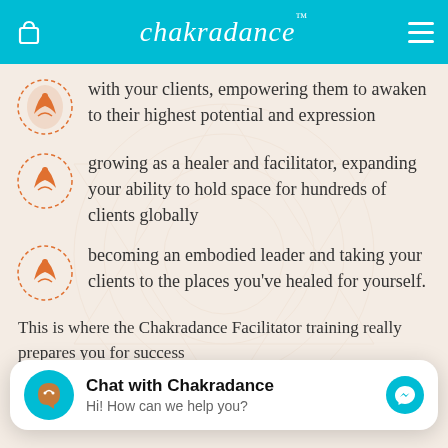chakradance
with your clients, empowering them to awaken to their highest potential and expression
growing as a healer and facilitator, expanding your ability to hold space for hundreds of clients globally
becoming an embodied leader and taking your clients to the places you've healed for yourself.
This is where the Chakradance Facilitator training really prepares you for success
Chat with Chakradance
Hi! How can we help you?
Upon completion of this phase, you'll...